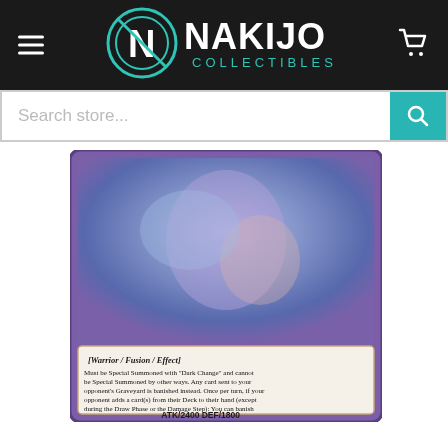[Figure (logo): Nakijo Collectibles logo with hamburger menu on left and shopping cart icon on right, white text on dark background with teal/cyan accent color]
[Figure (screenshot): Search store input field with teal search button on the right]
[Figure (photo): Yu-Gi-Oh trading card showing a Warrior/Fusion/Effect monster card with purple border. Card text reads: [WARRIOR/FUSION/EFFECT] Must be Special Summoned with 'Dark Change' and cannot be Special Summoned by other ways. Any card sent to your opponent's Graveyard is banished instead. Once per turn, if your opponent adds a card(s) from their Deck to their hand (except during the Draw Phase or the Damage Step): You can banish 1 random card from your opponent's hand. ATK/2400 DEF/1800]